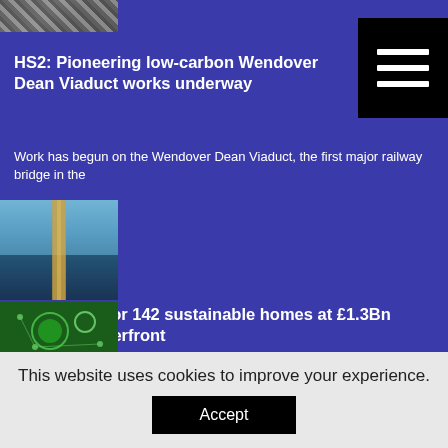[Figure (photo): Aerial or architectural photo of viaduct/railway structure, top-left corner]
HS2: Pioneering low-carbon Wendover Dean Viaduct works underway
Work has begun on the Wendover Dean Viaduct, the first major railway bridge in the
[Figure (photo): Aerial photo of a long road or bridge crossing over a calm body of water with blue sky]
Green light for 142 sustainable homes at £1.3Bn Granton Waterfront
City of Edinburgh Council's £1.3Bn Granton Waterfront regeneration is a step closer, following planning approval
[Figure (photo): Green network/sustainability themed image with globe and recycling icons]
This website uses cookies to improve your experience.